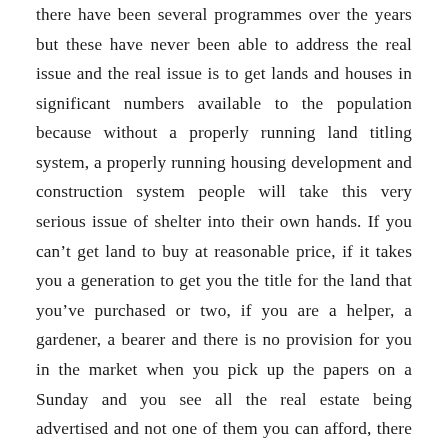there have been several programmes over the years but these have never been able to address the real issue and the real issue is to get lands and houses in significant numbers available to the population because without a properly running land titling system, a properly running housing development and construction system people will take this very serious issue of shelter into their own hands. If you can't get land to buy at reasonable price, if it takes you a generation to get you the title for the land that you've purchased or two, if you are a helper, a gardener, a bearer and there is no provision for you in the market when you pick up the papers on a Sunday and you see all the real estate being advertised and not one of them you can afford, there is no house there in the price point that matches your income but you turn around